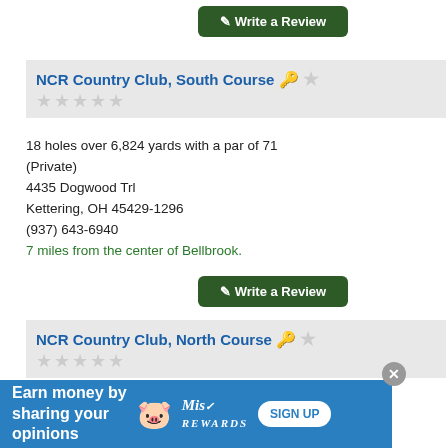Write a Review (button)
NCR Country Club, South Course
18 holes over 6,824 yards with a par of 71 (Private)
4435 Dogwood Trl
Kettering, OH 45429-1296
(937) 643-6940
7 miles from the center of Bellbrook.
Write a Review (button)
NCR Country Club, North Course
18 holes over 6,358 yards with a par of 70 (Private)
4435 Dogwood Trl
Earn money by sharing your opinions SIGN UP